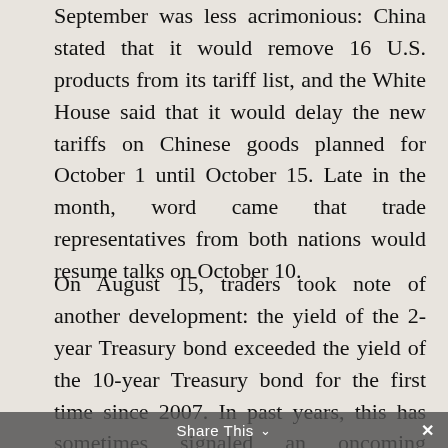September was less acrimonious: China stated that it would remove 16 U.S. products from its tariff list, and the White House said that it would delay the new tariffs on Chinese goods planned for October 1 until October 15. Late in the month, word came that trade representatives from both nations would resume talks on October 10.
On August 15, traders took note of another development: the yield of the 2-year Treasury bond exceeded the yield of the 10-year Treasury bond for the first time since 2007. In past years, this has sometimes signaled an oncoming interruption in U.S. economic expansion. Longer-term Treasuries commonly have higher yields than shorter-term Treasuries; when the opposite is true, it indicates
Share This